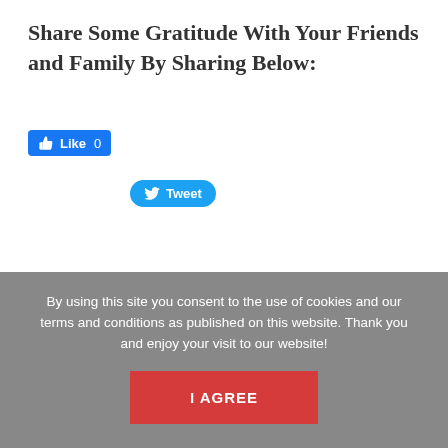Share Some Gratitude With Your Friends and Family By Sharing Below:
[Figure (screenshot): Facebook Like button showing count 0 and Twitter Tweet button]
Listen to the Illuminate Podcast
By using this site you consent to the use of cookies and our terms and conditions as published on this website. Thank you and enjoy your visit to our website!
I AGREE